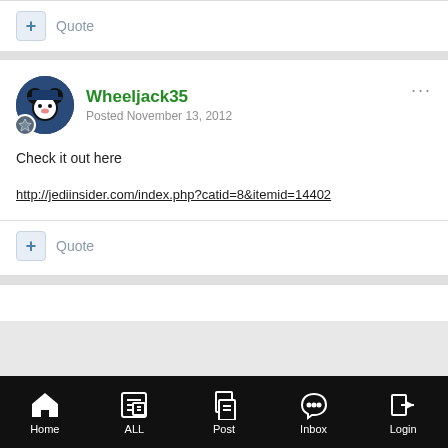+ Quote
Wheeljack35
Posted November 13, 2012
Check it out here
http://jediinsider.com/index.php?catid=8&itemid=14402
+ Quote
Home   ALL   Post   Inbox   Login